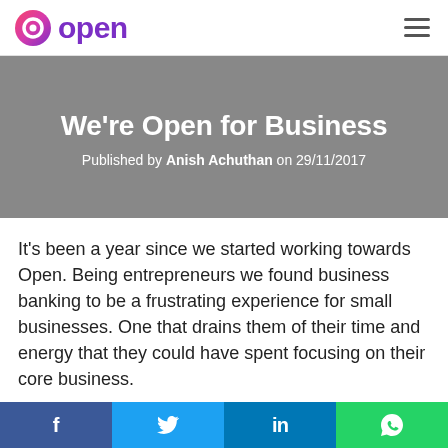Open — logo and navigation header
We're Open for Business
Published by Anish Achuthan on 29/11/2017
It's been a year since we started working towards Open. Being entrepreneurs we found business banking to be a frustrating experience for small businesses. One that drains them of their time and energy that they could have spent focusing on their core business.
f  (Facebook share)  |  (Twitter share)  |  in (LinkedIn share)  |  (WhatsApp share)